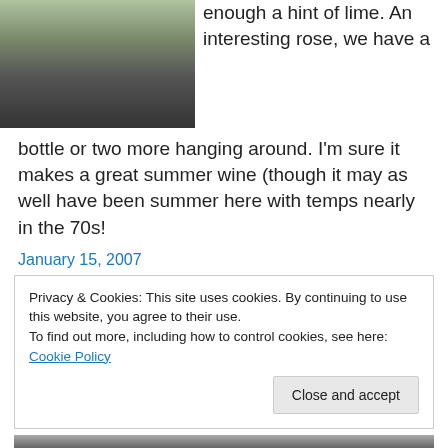[Figure (photo): Two people standing outdoors on gravel, lower halves visible, shadows cast on gravel ground, greenery in background]
enough a hint of lime. An interesting rose, we have a
bottle or two more hanging around. I'm sure it makes a great summer wine (though it may as well have been summer here with temps nearly in the 70s!
January 15, 2007
Privacy & Cookies: This site uses cookies. By continuing to use this website, you agree to their use.
To find out more, including how to control cookies, see here: Cookie Policy
[Figure (photo): Black and white photo of people, partially visible at bottom of page]